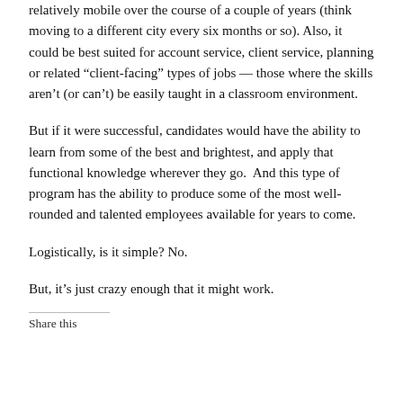relatively mobile over the course of a couple of years (think moving to a different city every six months or so). Also, it could be best suited for account service, client service, planning or related “client-facing” types of jobs — those where the skills aren’t (or can’t) be easily taught in a classroom environment.
But if it were successful, candidates would have the ability to learn from some of the best and brightest, and apply that functional knowledge wherever they go.  And this type of program has the ability to produce some of the most well-rounded and talented employees available for years to come.
Logistically, is it simple? No.
But, it’s just crazy enough that it might work.
Share this